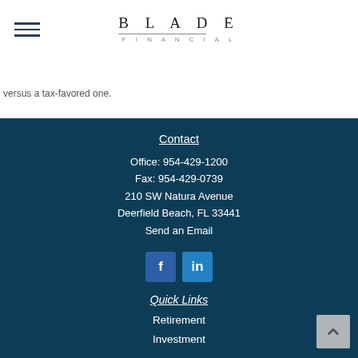BLADE FINANCIAL
versus a tax-favored one.
Contact
Office: 954-429-1200
Fax: 954-429-0739
210 SW Natura Avenue
Deerfield Beach, FL 33441
Send an Email
Quick Links
Retirement
Investment